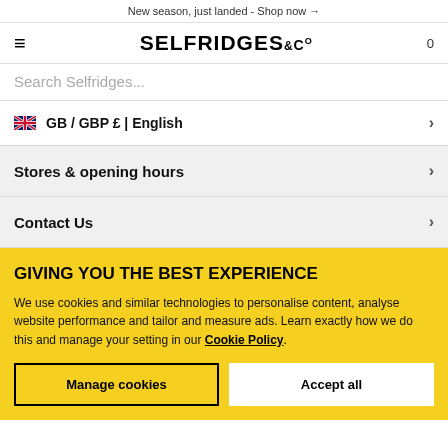New season, just landed - Shop now →
[Figure (logo): Selfridges & Co logo with hamburger menu and cart icon]
Search Selfridges...
GB / GBP £ | English
Stores & opening hours
Contact Us
GIVING YOU THE BEST EXPERIENCE
We use cookies and similar technologies to personalise content, analyse website performance and tailor and measure ads. Learn exactly how we do this and manage your setting in our Cookie Policy.
Manage cookies | Accept all